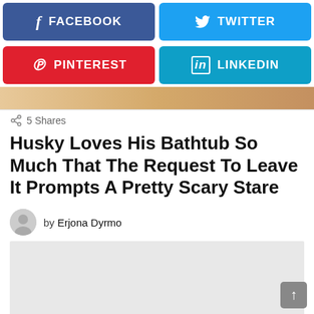[Figure (screenshot): Social share buttons: Facebook (blue), Twitter (light blue), Pinterest (red), LinkedIn (light blue)]
[Figure (photo): Partial image strip showing beige/tan background, likely a bathtub or dog photo]
5 Shares
Husky Loves His Bathtub So Much That The Request To Leave It Prompts A Pretty Scary Stare
by Erjona Dyrmo
[Figure (other): Grey placeholder content block (advertisement or image loading area)]